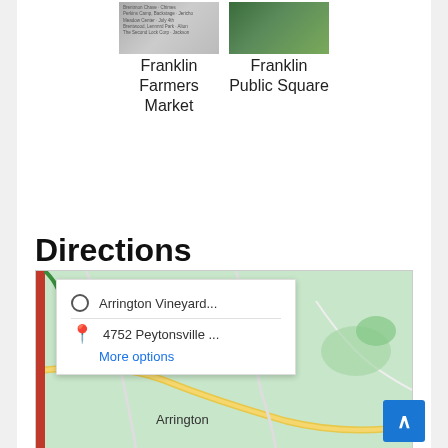[Figure (photo): Thumbnail photo of Franklin Farmers Market — appears to be a sign or board with text listing market items]
Franklin Farmers Market
[Figure (photo): Thumbnail photo of Franklin Public Square — green trees and an outdoor public square area]
Franklin Public Square
Directions
[Figure (map): Google Maps embedded map showing directions from Arrington Vineyard... to 4752 Peytonsville ... with a popup showing origin and destination fields and a 'More options' link. The map shows the Arrington area with roads and greenery.]